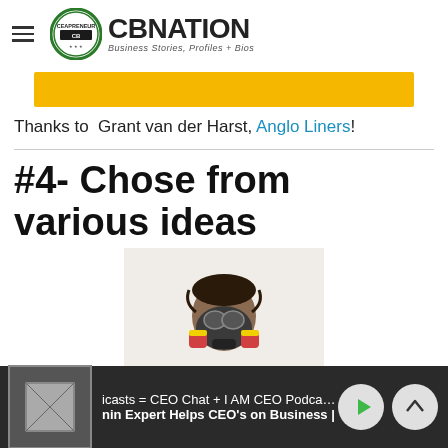CBNATION — Business Stories, Profiles + Bios
[Figure (illustration): Yellow banner/advertisement strip]
Thanks to  Grant van der Harst, Anglo Liners!
#4- Chose from various ideas
[Figure (photo): Person wearing a full-face respirator/gas mask and grey work uniform]
icasts = CEO Chat + I AM CEO Podcasts | nin Expert Helps CEO's on Business |